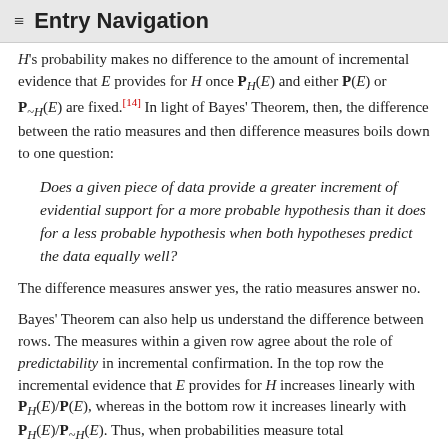≡ Entry Navigation
H's probability makes no difference to the amount of incremental evidence that E provides for H once P_H(E) and either P(E) or P_~H(E) are fixed.[14] In light of Bayes' Theorem, then, the difference between the ratio measures and then difference measures boils down to one question:
Does a given piece of data provide a greater increment of evidential support for a more probable hypothesis than it does for a less probable hypothesis when both hypotheses predict the data equally well?
The difference measures answer yes, the ratio measures answer no.
Bayes' Theorem can also help us understand the difference between rows. The measures within a given row agree about the role of predictability in incremental confirmation. In the top row the incremental evidence that E provides for H increases linearly with P_H(E)/P(E), whereas in the bottom row it increases linearly with P_H(E)/P_~H(E). Thus, when probabilities measure total